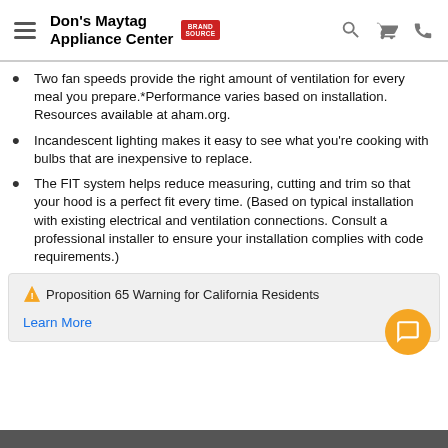Don's Maytag Appliance Center
Two fan speeds provide the right amount of ventilation for every meal you prepare.*Performance varies based on installation. Resources available at aham.org.
Incandescent lighting makes it easy to see what you're cooking with bulbs that are inexpensive to replace.
The FIT system helps reduce measuring, cutting and trim so that your hood is a perfect fit every time. (Based on typical installation with existing electrical and ventilation connections. Consult a professional installer to ensure your installation complies with code requirements.)
⚠ Proposition 65 Warning for California Residents
Learn More